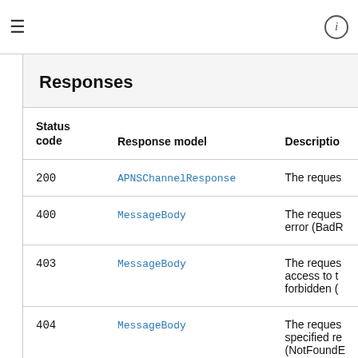≡    ⓘ
Responses
| Status code | Response model | Description |
| --- | --- | --- |
| 200 | APNSChannelResponse | The reques… |
| 400 | MessageBody | The reques… error (BadR… |
| 403 | MessageBody | The reques… access to t… forbidden (… |
| 404 | MessageBody | The reques… specified re… (NotFoundE… |